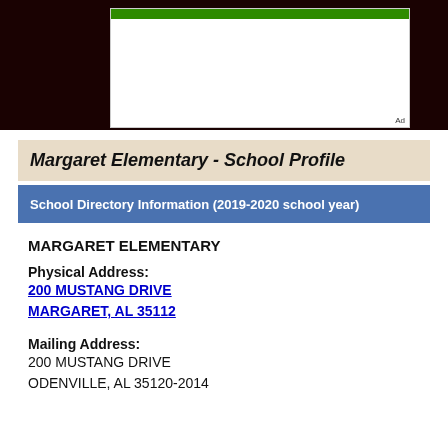[Figure (other): Dark maroon header banner with a white advertisement box containing a green bar at top and 'Ad' label at bottom right]
Margaret Elementary - School Profile
School Directory Information (2019-2020 school year)
MARGARET ELEMENTARY
Physical Address:
200 MUSTANG DRIVE
MARGARET, AL 35112
Mailing Address:
200 MUSTANG DRIVE
ODENVILLE, AL 35120-2014